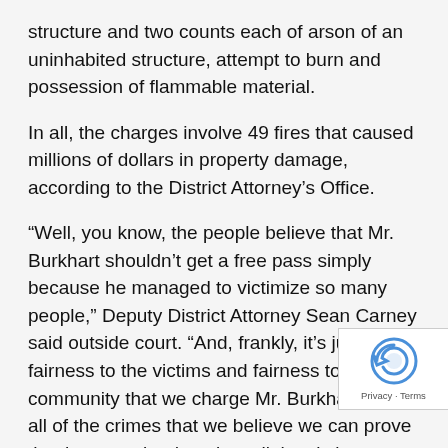structure and two counts each of arson of an uninhabited structure, attempt to burn and possession of flammable material.
In all, the charges involve 49 fires that caused millions of dollars in property damage, according to the District Attorney's Office.
“Well, you know, the people believe that Mr. Burkhart shouldn’t get a free pass simply because he managed to victimize so many people,” Deputy District Attorney Sean Carney said outside court. “And, frankly, it’s just fairness to the victims and fairness to this community that we charge Mr. Burkhart with all of the crimes that we believe we can prove that he committed against all the victims terrorized in this arson spree. … To explain his cond you really have to present evidence of the entire ars spree.”
[Figure (other): reCAPTCHA badge with Privacy and Terms links]